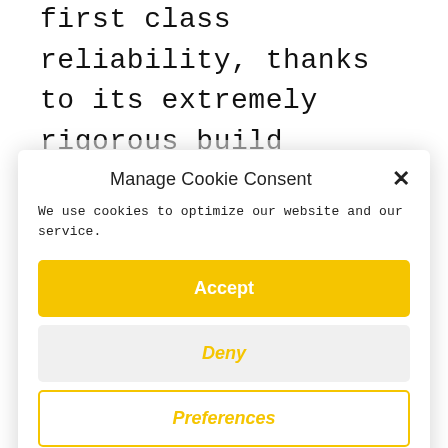first class reliability, thanks to its extremely rigorous build quality. It continuously delivers on offering a high value proposition, with its great comfort, handling, engine and safety credentials, as well as a host of features.  Even more
Manage Cookie Consent
We use cookies to optimize our website and our service.
Accept
Deny
Preferences
Cookie Policy  Privacy Policy